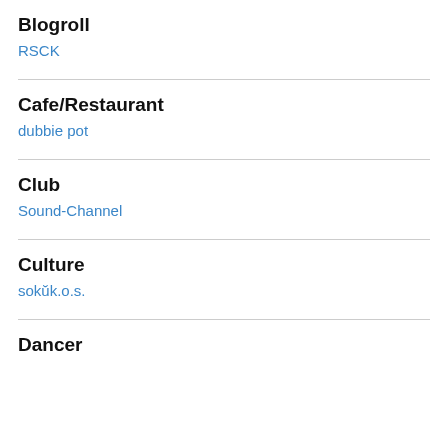Blogroll
RSCK
Cafe/Restaurant
dubbie pot
Club
Sound-Channel
Culture
sokŭk.o.s.
Dancer